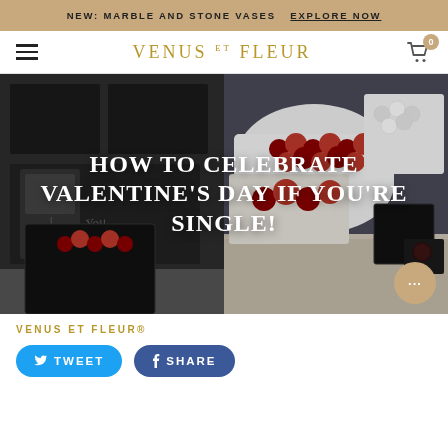NEW: MARBLE AND STONE VASES  EXPLORE NOW
VENUS ET FLEUR
[Figure (photo): Two-panel hero image. Left panel: dark modern kitchen scene with black cabinetry, a plate with red candies. Right panel: luxury flower boxes with red and white roses. Overlaid white text reads 'HOW TO CELEBRATE VALENTINE'S DAY IF YOU'RE SINGLE!']
VENUS ET FLEUR®
TWEET
SHARE